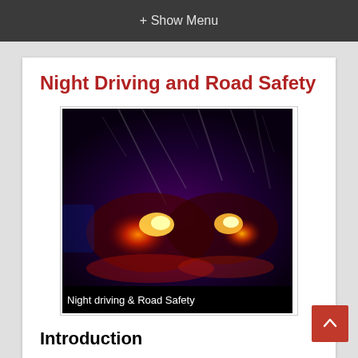+ Show Menu
Night Driving and Road Safety
[Figure (photo): Night driving photo showing blurred red and orange car lights against a dark purple background with a black caption bar reading 'Night driving & Road Safety']
Night driving & Road Safety
Introduction
Road authorities agree that night driving presents